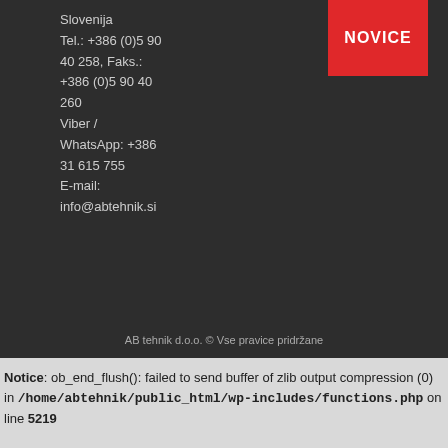[Figure (other): Red NOVICE button/banner at top right of dark section]
Slovenija
Tel.: +386 (0)5 90
40 258, Faks.:
+386 (0)5 90 40
260
Viber /
WhatsApp: +386
31 615 755
E-mail:
info@abtehnik.si
AB tehnik d.o.o. © Vse pravice pridržane
Notice: ob_end_flush(): failed to send buffer of zlib output compression (0) in /home/abtehnik/public_html/wp-includes/functions.php on line 5219